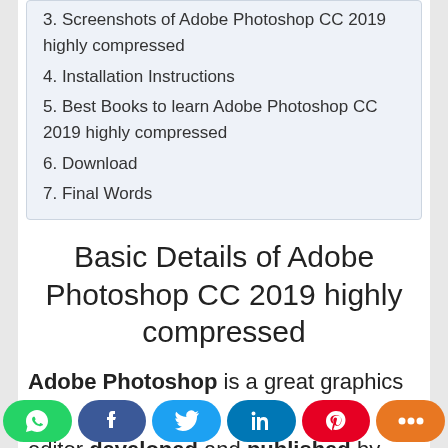3. Screenshots of Adobe Photoshop CC 2019 highly compressed
4. Installation Instructions
5. Best Books to learn Adobe Photoshop CC 2019 highly compressed
6. Download
7. Final Words
Basic Details of Adobe Photoshop CC 2019 highly compressed
Adobe Photoshop is a great graphics editor developed and published by